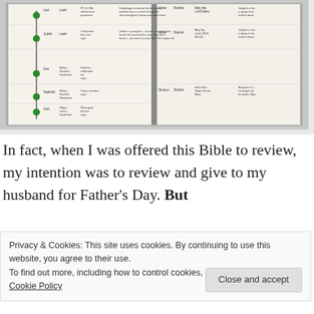[Figure (photo): Photograph of an open Bible showing pages with tables listing sons of Jacob/Israel with columns for name, mother, meaning, and scripture references. Two pages visible side by side.]
In fact, when I was offered this Bible to review, my intention was to review and give to my husband for Father's Day. But
Privacy & Cookies: This site uses cookies. By continuing to use this website, you agree to their use.
To find out more, including how to control cookies, see here:
Cookie Policy
Close and accept